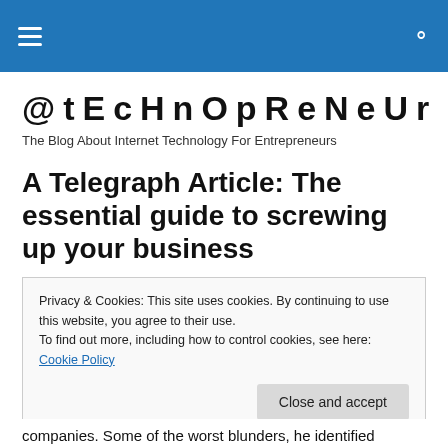@tEcHnOpReNeUr navigation bar
@tEcHnOpReNeUr
The Blog About Internet Technology For Entrepreneurs
A Telegraph Article: The essential guide to screwing up your business
Privacy & Cookies: This site uses cookies. By continuing to use this website, you agree to their use.
To find out more, including how to control cookies, see here: Cookie Policy
companies. Some of the worst blunders, he identified